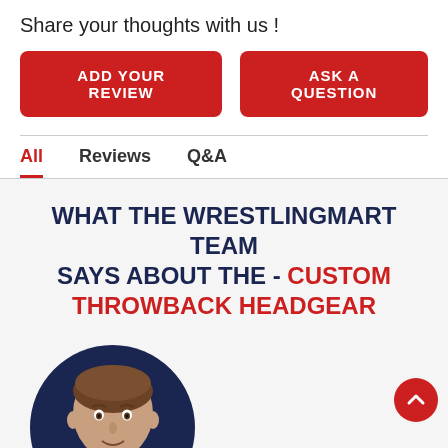Share your thoughts with us !
[Figure (other): Two red buttons: 'Add your Review' and 'Ask a Question']
All
Reviews
Q&A
WHAT THE WRESTLINGMART TEAM SAYS ABOUT THE - CUSTOM THROWBACK HEADGEAR
[Figure (photo): Circular portrait photo of a young man with brown hair against a dark blue background]
[Figure (logo): Accessibility wheelchair icon badge (blue)]
[Figure (logo): TrustedSite Certified Secure badge]